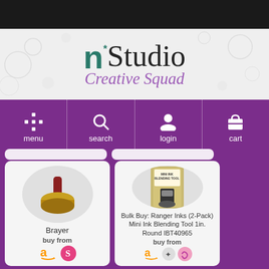[Figure (screenshot): n*Studio Creative Squad website header with logo]
n*Studio Creative Squad
[Figure (screenshot): Navigation bar with menu, search, login, cart icons on purple background]
[Figure (screenshot): Product listing: Brayer with buy from Amazon and Spoonflower logos]
[Figure (screenshot): Product listing: Bulk Buy: Ranger Inks (2-Pack) Mini Ink Blending Tool 1in. Round IBT40965 with buy from logos]